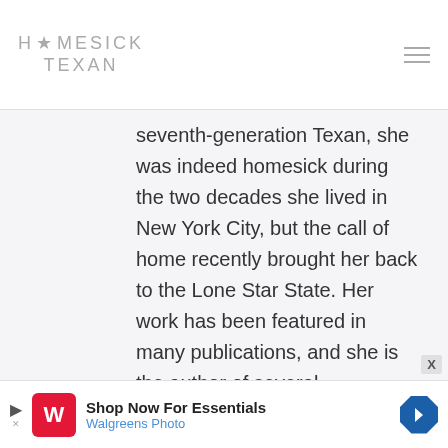HOMESICK TEXAN
seventh-generation Texan, she was indeed homesick during the two decades she lived in New York City, but the call of home recently brought her back to the Lone Star State. Her work has been featured in many publications, and she is the author of several cookbooks, including her latest,
Queso! Regional Recipes for the World's Favorite Chile-Cheese
[Figure (other): Walgreens Photo advertisement banner at bottom of page with text 'Shop Now For Essentials' and 'Walgreens Photo']